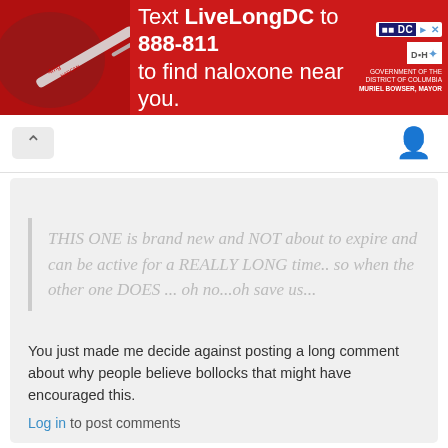[Figure (infographic): Red banner advertisement: Text LiveLongDC to 888-811 to find naloxone near you, with syringe image on left and DC government logos on right]
THIS ONE is brand new and NOT about to expire and can be active for a REALLY LONG time.. so when the other one DOES ... oh no...oh save us...
You just made me decide against posting a long comment about why people believe bollocks that might have encouraged this.
Log in to post comments